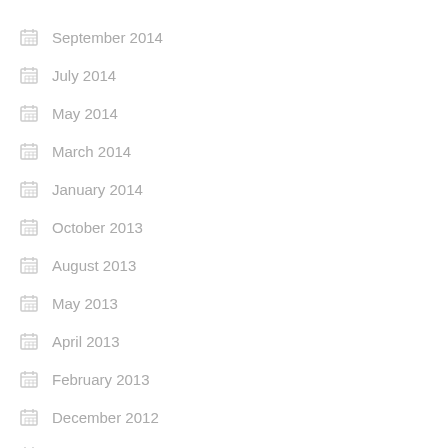September 2014
July 2014
May 2014
March 2014
January 2014
October 2013
August 2013
May 2013
April 2013
February 2013
December 2012
November 2012